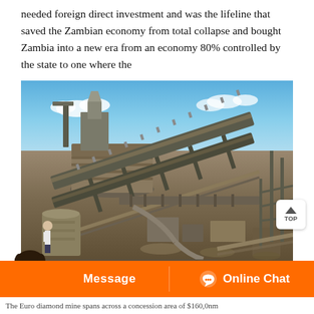needed foreign direct investment and was the lifeline that saved the Zambian economy from total collapse and bought Zambia into a new era from an economy 80% controlled by the state to one where the
[Figure (photo): Industrial mining facility with large conveyor belts and heavy machinery structures against a blue sky background. The Euro diamond mine.]
The Euro diamond mine spans across a concession area of $160,0nm